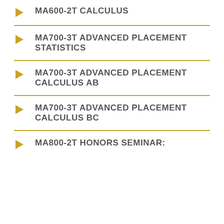MA600-2T CALCULUS
MA700-3T ADVANCED PLACEMENT STATISTICS
MA700-3T ADVANCED PLACEMENT CALCULUS AB
MA700-3T ADVANCED PLACEMENT CALCULUS BC
MA800-2T HONORS SEMINAR: